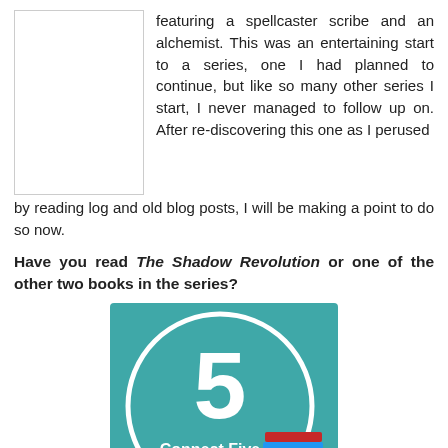[Figure (illustration): Book cover placeholder image (white rectangle with border)]
featuring a spellcaster scribe and an alchemist. This was an entertaining start to a series, one I had planned to continue, but like so many other series I start, I never managed to follow up on. After re-discovering this one as I perused by reading log and old blog posts, I will be making a point to do so now.
Have you read The Shadow Revolution or one of the other two books in the series?
[Figure (logo): Connect Five Friday logo: teal square background with white circle containing large number 5 and text 'Connect Five Friday', with a stack of colorful books illustration in bottom right corner]